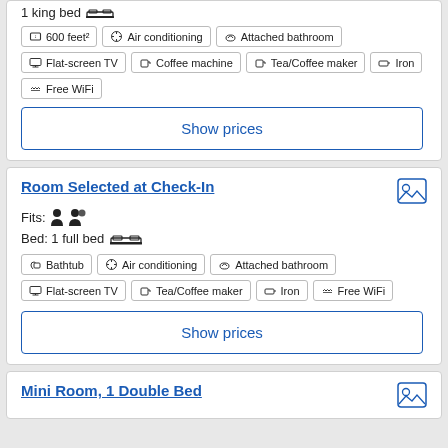600 feet²
Air conditioning
Attached bathroom
Flat-screen TV
Coffee machine
Tea/Coffee maker
Iron
Free WiFi
Show prices
Room Selected at Check-In
Fits:
Bed: 1 full bed
Bathtub
Air conditioning
Attached bathroom
Flat-screen TV
Tea/Coffee maker
Iron
Free WiFi
Show prices
Mini Room, 1 Double Bed